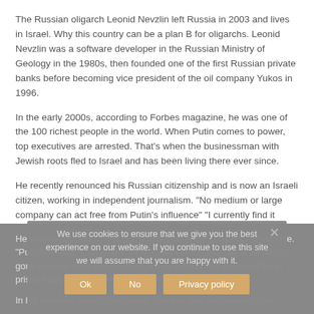The Russian oligarch Leonid Nevzlin left Russia in 2003 and lives in Israel. Why this country can be a plan B for oligarchs. Leonid Nevzlin was a software developer in the Russian Ministry of Geology in the 1980s, then founded one of the first Russian private banks before becoming vice president of the oil company Yukos in 1996.
In the early 2000s, according to Forbes magazine, he was one of the 100 richest people in the world. When Putin comes to power, top executives are arrested. That's when the businessman with Jewish roots fled to Israel and has been living there ever since.
He recently renounced his Russian citizenship and is now an Israeli citizen, working in independent journalism. "No medium or large company can act free from Putin's influence" "I currently find it shameful to be Russian," says Nevzlin in an interview with "Spiegel".
He cannot approve of this war and supports the Ukrainian resistance. "Putin's Russia is no longer mine," said the 62-year-old. If he hadn't gone to Israel after Putin seized power in 2003, he would still be in prison today – like former Yukos manager Alexei Pitushgin.
We use cookies to ensure that we give you the best experience on our website. If you continue to use this site we will assume that you are happy with it.
In his absence, Nevzlin had been charged and sentenced to life